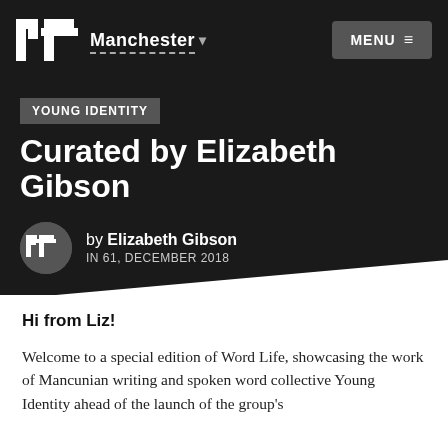nt Manchester MENU
YOUNG IDENTITY
Curated by Elizabeth Gibson
by Elizabeth Gibson IN 61, DECEMBER 2018
Hi from Liz!
Welcome to a special edition of Word Life, showcasing the work of Mancunian writing and spoken word collective Young Identity ahead of the launch of the group's